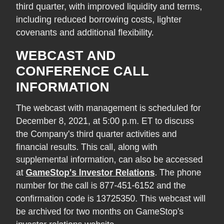third quarter, with improved liquidity and terms, including reduced borrowing costs, lighter covenants and additional flexibility.
WEBCAST AND CONFERENCE CALL INFORMATION
The webcast with management is scheduled for December 8, 2021, at 5:00 p.m. ET to discuss the Company's third quarter activities and financial results. This call, along with supplemental information, can also be accessed at GameStop's Investor Relations. The phone number for the call is 877-451-6152 and the confirmation code is 13725350. This webcast will be archived for two months on GameStop's investor relations website
Source: GameStop Newsroom, Form 8-k